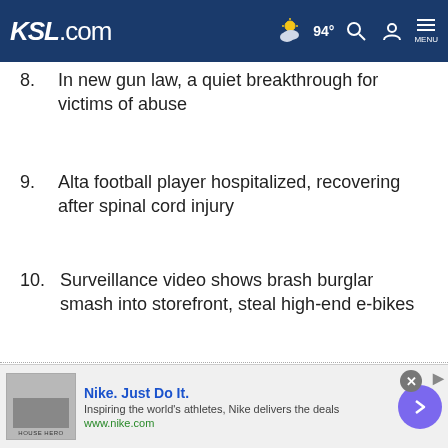KSL.com 94°
8. In new gun law, a quiet breakthrough for victims of abuse
9. Alta football player hospitalized, recovering after spinal cord injury
10. Surveillance video shows brash burglar smash into storefront, steal high-end e-bikes
SIGN UP FOR THE KSL.COM NEWSLETTER
Cookie Notice

We use cookies to improve your experience, analyze site traffic, and to personalize content and ads. By continuing to use our site, you consent to our use of cookies. Please visit our Terms of Use and Privacy Policy for more information
[Figure (screenshot): Nike advertisement banner: Nike. Just Do It. Inspiring the world's athletes, Nike delivers the deals. www.nike.com]